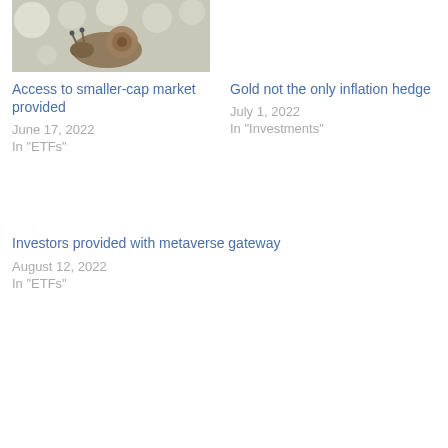[Figure (photo): Photo of a snail on a surface with flowers in background]
Access to smaller-cap market provided
June 17, 2022
In "ETFs"
Gold not the only inflation hedge
July 1, 2022
In "Investments"
Investors provided with metaverse gateway
August 12, 2022
In "ETFs"